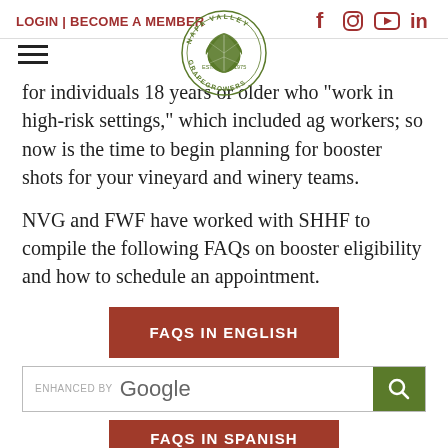LOGIN | BECOME A MEMBER
[Figure (logo): Napa Valley Grapegrowers circular logo with grape leaf, est. 1975]
for individuals 18 years or older who "work in high-risk settings," which included ag workers; so now is the time to begin planning for booster shots for your vineyard and winery teams.
NVG and FWF have worked with SHHF to compile the following FAQs on booster eligibility and how to schedule an appointment.
FAQS IN ENGLISH
ENHANCED BY Google [search]
FAQS IN SPANISH (partial)